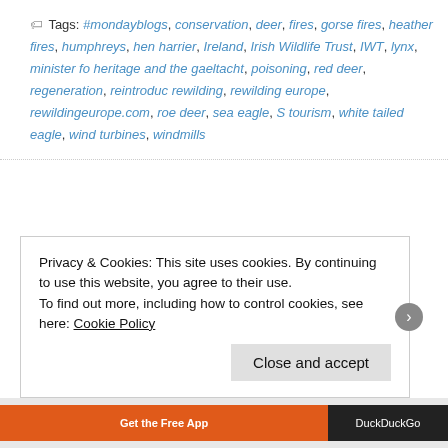Tags: #mondayblogs, conservation, deer, fires, gorse fires, heather fires, humphreys, hen harrier, Ireland, Irish Wildlife Trust, IWT, lynx, minister fo... heritage and the gaeltacht, poisoning, red deer, regeneration, reintroduc... rewilding, rewilding europe, rewildingeurope.com, roe deer, sea eagle, S... tourism, white tailed eagle, wind turbines, windmills
Privacy & Cookies: This site uses cookies. By continuing to use this website, you agree to their use.
To find out more, including how to control cookies, see here: Cookie Policy